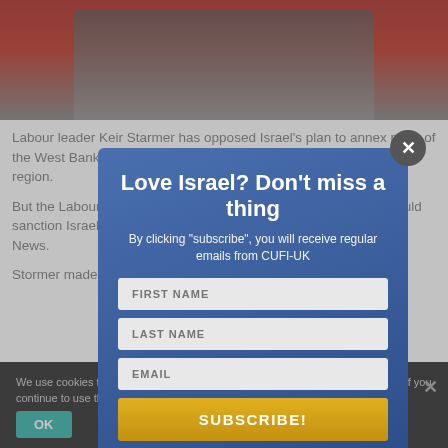[Figure (photo): Photo of a person in a dark jacket against a red background, partially visible behind a modal popup]
Labour leader Keir Starmer has opposed Israel's plan to annex parts of the West Bank, saying that it could be detrimental to security the region.
But the Labour leader would not be drawn on whether the UK should sanction Israel if it does go ahead with the move, says the Jewish News.
Stormer made the comment after speaking to...
Love Israel? Don't miss a thing
By clicking "subscribe", you will receive regular emails from CUFI-UK
FIRST NAME
LAST NAME
EMAIL
SUBSCRIBE!
We use cookies to ensure that we give you the best experience on our website. If you continue to use this site we will assume that you are happy with it.
OK